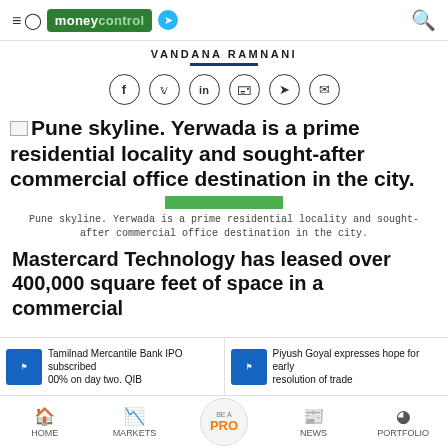moneycontrol
VANDANA RAMNANI
[Figure (other): Social media share icons: Facebook, Twitter, LinkedIn, WhatsApp, Telegram, Email]
[Figure (photo): Broken image placeholder for Pune skyline photo]
Pune skyline. Yerwada is a prime residential locality and sought-after commercial office destination in the city.
Mastercard Technology has leased over 400,000 square feet of space in a commercial
Tamilnad Mercantile Bank IPO subscribed 00% on day two. QIB
Piyush Goyal expresses hope for early resolution of trade
HOME MARKETS BE A PRO NEWS PORTFOLIO